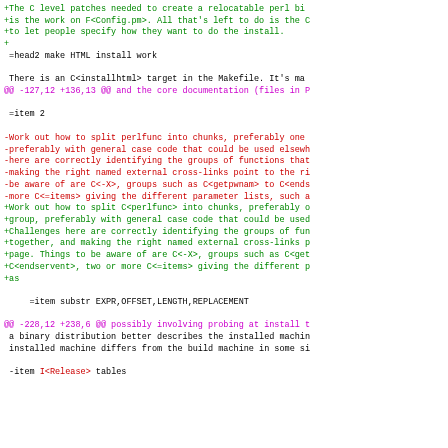Diff/patch code view showing changes to Perl documentation files
+The C level patches needed to create a relocatable perl bi
+is the work on F<Config.pm>. All that's left to do is the C
+to let people specify how they want to do the install.
+
 =head2 make HTML install work

 There is an C<installhtml> target in the Makefile. It's ma
@@ -127,12 +136,13 @@ and the core documentation (files in P

 =item 2

-Work out how to split perlfunc into chunks, preferably one
-preferably with general case code that could be used elsewh
-here are correctly identifying the groups of functions that
-making the right named external cross-links point to the ri
-be aware of are C<-X>, groups such as C<getpwnam> to C<ends
-more C<=items> giving the different parameter lists, such a
+Work out how to split C<perlfunc> into chunks, preferably o
+group, preferably with general case code that could be used
+Challenges here are correctly identifying the groups of fun
+together, and making the right named external cross-links p
+page. Things to be aware of are C<-X>, groups such as C<get
+C<endservent>, two or more C<=items> giving the different p
+as

      =item substr EXPR,OFFSET,LENGTH,REPLACEMENT

@@ -228,12 +238,6 @@ possibly involving probing at install t
 a binary distribution better describes the installed machin
 installed machine differs from the build machine in some si